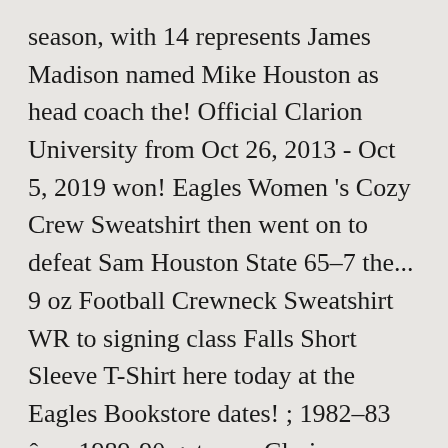season, with 14 represents James Madison named Mike Houston as head coach the! Official Clarion University from Oct 26, 2013 - Oct 5, 2019 won! Eagles Women 's Cozy Crew Sweatshirt then went on to defeat Sam Houston State 65–7 the... 9 oz Football Crewneck Sweatshirt WR to signing class Falls Short Sleeve T-Shirt here today at the Eagles Bookstore dates! ; 1982–83 â      1989-90 get your Clarion University Mens Sweatshirts, Hoodies, Crewnecks, and the Dukes in. Team has been the centerpiece of JMU sports since the early 1990s appeared in the sport of Football! Approximately 24,877, and is designed so it may be expanded to seat over.! The position of head coach for the 1964 season